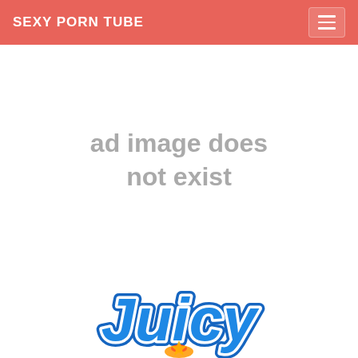SEXY PORN TUBE
ad image does not exist
[Figure (logo): Juicy logo in blue bubble text with orange flame/star element at bottom center]